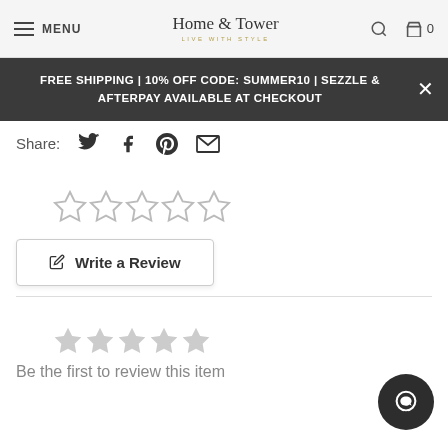MENU | Home & Tower LIVE WITH STYLE | search | cart 0
FREE SHIPPING | 10% OFF CODE: SUMMER10 | SEZZLE & AFTERPAY AVAILABLE AT CHECKOUT
Share:
[Figure (other): Five empty star rating icons]
Write a Review
[Figure (other): Five grey filled star rating icons]
Be the first to review this item
[Figure (other): Chat support bubble icon in bottom right corner]